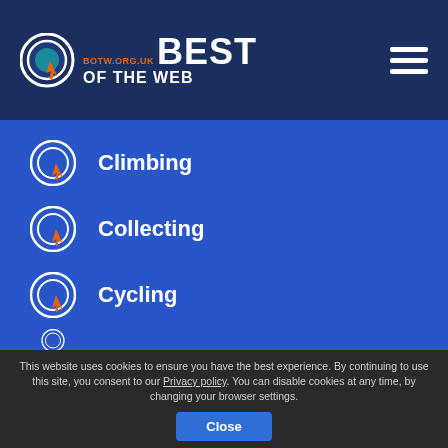[Figure (logo): Best of the Web logo with circular target icon and orange cursor arrow, text BEST OF THE WEB, URL botw.org.uk]
Climbing
Collecting
Cycling
This website uses cookies to ensure you have the best experience. By continuing to use this site, you consent to our Privacy policy. You can disable cookies at any time, by changing your browser settings.
Close